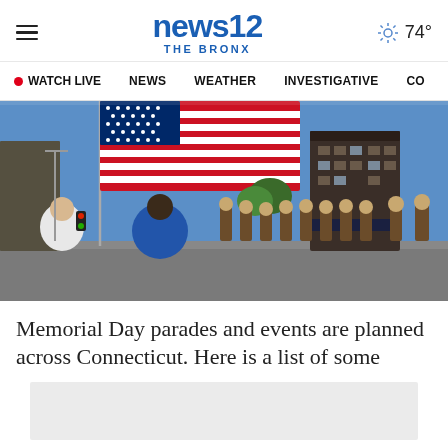news12 THE BRONX | 74°
• WATCH LIVE   NEWS   WEATHER   INVESTIGATIVE   C…
[Figure (photo): A large American flag waves over a street as military personnel march in a Memorial Day parade, with spectators watching in the foreground and urban buildings in the background on a sunny day.]
Memorial Day parades and events are planned across Connecticut. Here is a list of some
[Figure (other): Gray advertisement placeholder box]